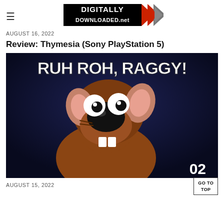DIGITALLY DOWNLOADED.net
AUGUST 16, 2022
Review: Thymesia (Sony PlayStation 5)
[Figure (photo): Scooby-Doo cartoon image on dark blue background with white bold text reading 'RUH ROH, RAGGY!' and the number '02' in the bottom right corner]
AUGUST 15, 2022